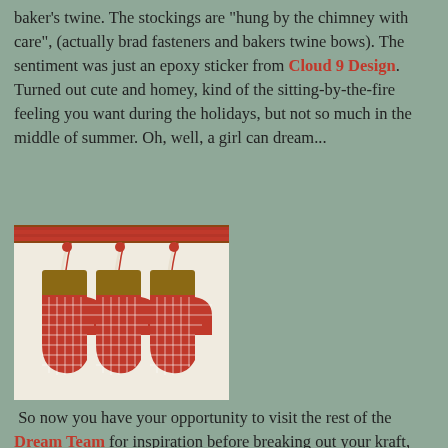baker's twine. The stockings are "hung by the chimney with care", (actually brad fasteners and bakers twine bows). The sentiment was just an epoxy sticker from Cloud 9 Design. Turned out cute and homey, kind of the sitting-by-the-fire feeling you want during the holidays, but not so much in the middle of summer. Oh, well, a girl can dream...
[Figure (photo): Three red gingham Christmas stockings hung by baker's twine bows with small red berries/buttons, on a light background with a red and brown striped border at top.]
So now you have your opportunity to visit the rest of the Dream Team for inspiration before breaking out your kraft, red, and ivory supplies to create something you can link to on the Dream It Up! blog!